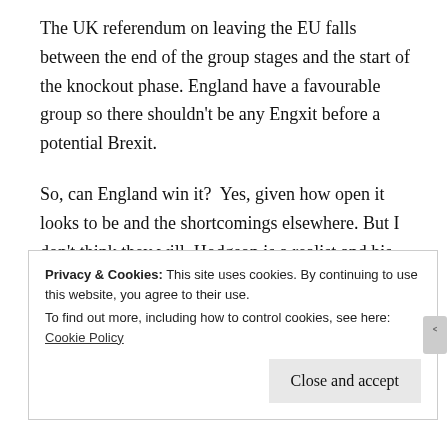The UK referendum on leaving the EU falls between the end of the group stages and the start of the knockout phase. England have a favourable group so there shouldn't be any Engxit before a potential Brexit.
So, can England win it?  Yes, given how open it looks to be and the shortcomings elsewhere. But I don't think they will. Hodgson is a realist and his assessment is correct: it's only a short journey to France, but his squad still has a long way to go.
Privacy & Cookies: This site uses cookies. By continuing to use this website, you agree to their use.
To find out more, including how to control cookies, see here: Cookie Policy